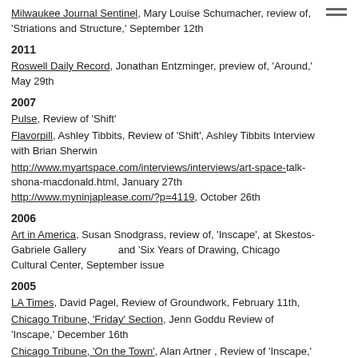Milwaukee Journal Sentinel, Mary Louise Schumacher, review of, 'Striations and Structure,' September 12th
2011
Roswell Daily Record, Jonathan Entzminger, preview of, 'Around,' May 29th
2007
Pulse, Review of 'Shift'
Flavorpill, Ashley Tibbits, Review of 'Shift', Ashley Tibbits Interview with Brian Sherwin
http://www.myartspace.com/interviews/interviews/art-space-talk-shona-macdonald.html, January 27th http://www.myninjaplease.com/?p=4119, October 26th
2006
Art in America, Susan Snodgrass, review of, 'Inscape', at Skestos-Gabriele Gallery and 'Six Years of Drawing, Chicago Cultural Center, September issue
2005
LA Times, David Pagel, Review of Groundwork, February 11th,
Chicago Tribune, 'Friday' Section, Jenn Goddu Review of 'Inscape,' December 16th
Chicago Tribune, 'On the Town', Alan Artner , Review of 'Inscape,' November 25th